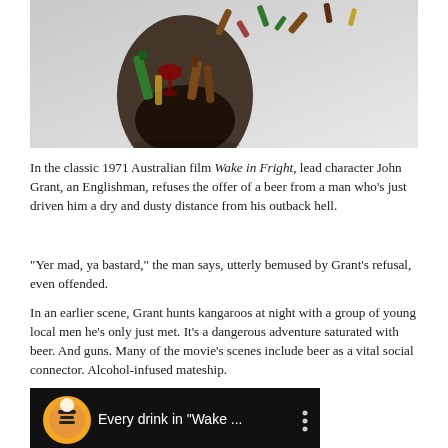[Figure (photo): Illustration of a human head silhouette made of alcohol bottles and glasses, with bottles flying out of the top of the head, on a grey gradient background.]
In the classic 1971 Australian film Wake in Fright, lead character John Grant, an Englishman, refuses the offer of a beer from a man who’s just driven him a dry and dusty distance from his outback hell.
“Yer mad, ya bastard,” the man says, utterly bemused by Grant’s refusal, even offended.
In an earlier scene, Grant hunts kangaroos at night with a group of young local men he’s only just met. It’s a dangerous adventure saturated with beer. And guns. Many of the movie’s scenes include beer as a vital social connector. Alcohol-infused mateship.
[Figure (screenshot): Dark video thumbnail with text reading 'Every drink in "Wake ..."' and a circular logo/icon on the left.]